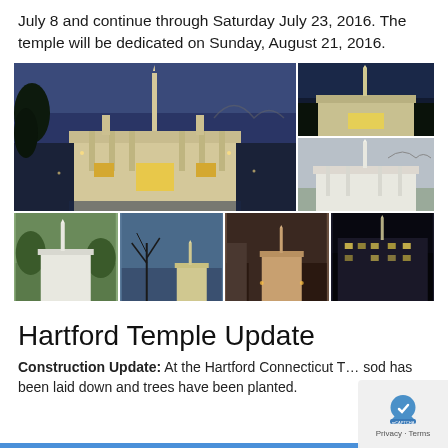July 8 and continue through Saturday July 23, 2016. The temple will be dedicated on Sunday, August 21, 2016.
[Figure (photo): Collage of six temple building photographs showing various LDS temples from different angles and lighting conditions, including night and day shots.]
Hartford Temple Update
Construction Update: At the Hartford Connecticut T… sod has been laid down and trees have been planted.